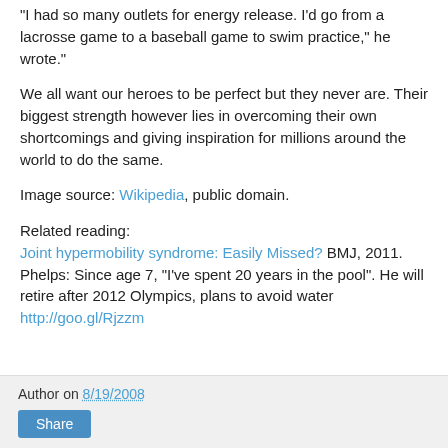"I had so many outlets for energy release. I'd go from a lacrosse game to a baseball game to swim practice," he wrote."
We all want our heroes to be perfect but they never are. Their biggest strength however lies in overcoming their own shortcomings and giving inspiration for millions around the world to do the same.
Image source: Wikipedia, public domain.
Related reading:
Joint hypermobility syndrome: Easily Missed? BMJ, 2011.
Phelps: Since age 7, "I've spent 20 years in the pool". He will retire after 2012 Olympics, plans to avoid water
http://goo.gl/Rjzzm
Author on 8/19/2008 | Share